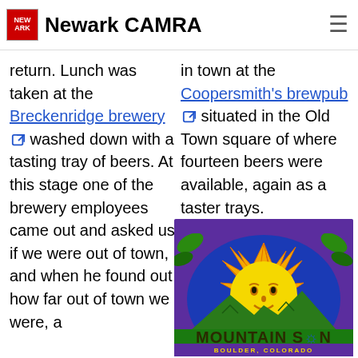Newark CAMRA
return. Lunch was taken at the Breckenridge brewery washed down with a tasting tray of beers. At this stage one of the brewery employees came out and asked us if we were out of town, and when he found out how far out of town we were, a
in town at the Coopersmith's brewpub situated in the Old Town square of where fourteen beers were available, again as a taster trays.
[Figure (logo): Mountain Sun Pub & Brewery logo — Boulder, Colorado. Colorful psychedelic illustration of a sun face over mountain peaks with purple border, yellow and orange rays, green foliage.]